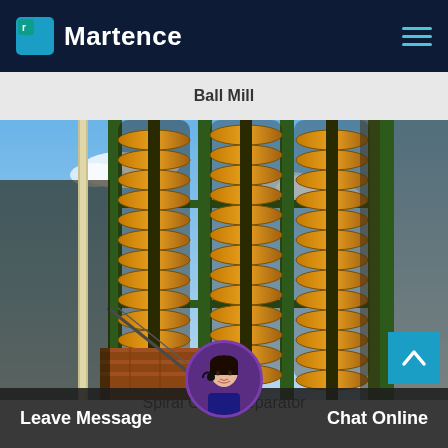Martence
Ball Mill
[Figure (photo): Industrial spiral chute separators — tall yellow/orange helical spiral structures on a green steel frame, photographed from below against a blue sky with clouds. Heavy industrial mineral processing equipment.]
Spiral Chute Separator
Leave Message   Chat Online